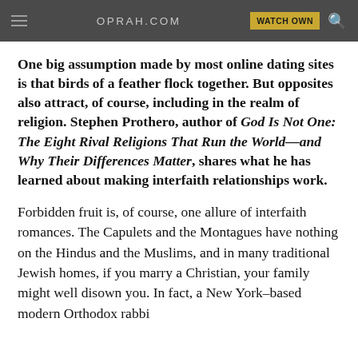OPRAH.COM  WATCH OWN
One big assumption made by most online dating sites is that birds of a feather flock together. But opposites also attract, of course, including in the realm of religion. Stephen Prothero, author of God Is Not One: The Eight Rival Religions That Run the World—and Why Their Differences Matter, shares what he has learned about making interfaith relationships work.
Forbidden fruit is, of course, one allure of interfaith romances. The Capulets and the Montagues have nothing on the Hindus and the Muslims, and in many traditional Jewish homes, if you marry a Christian, your family might well disown you. In fact, a New York–based modern Orthodox rabbi